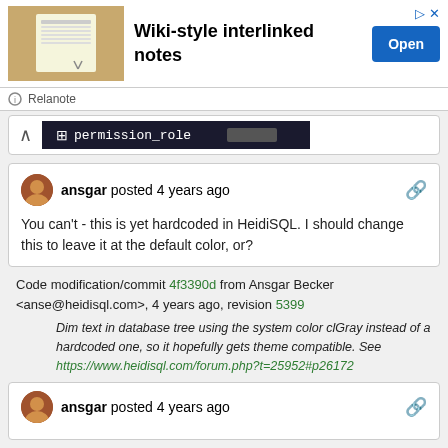[Figure (screenshot): Advertisement banner for Relanote app showing 'Wiki-style interlinked notes' with a notepad image and Open button]
Relanote
[Figure (screenshot): Database tree screenshot showing permission_role table entry in dark themed UI]
ansgar posted 4 years ago
You can't - this is yet hardcoded in HeidiSQL. I should change this to leave it at the default color, or?
Code modification/commit 4f3390d from Ansgar Becker <anse@heidisql.com>, 4 years ago, revision 5399
Dim text in database tree using the system color clGray instead of a hardcoded one, so it hopefully gets theme compatible. See https://www.heidisql.com/forum.php?t=25952#p26172
ansgar posted 4 years ago